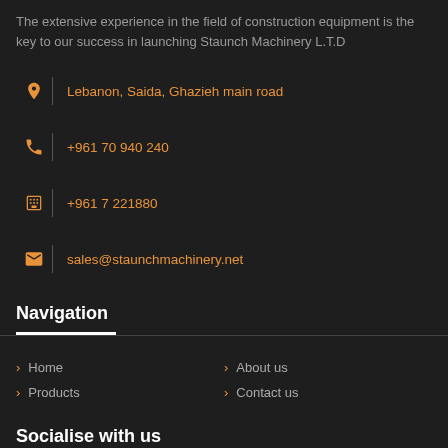The extensive experience in the field of construction equipment is the key to our success in launching Staunch Machinery L.T.D
Lebanon, Saida, Ghazieh main road
+961 70 940 240
+961 7 221880
sales@staunchmachinery.net
Navigation
Home
About us
Products
Contact us
Socialise with us